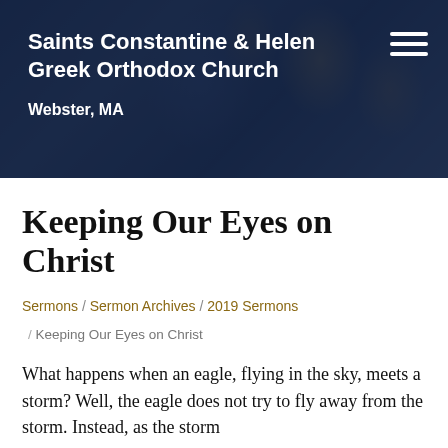Saints Constantine & Helen Greek Orthodox Church
Webster, MA
Keeping Our Eyes on Christ
Sermons / Sermon Archives / 2019 Sermons
/ Keeping Our Eyes on Christ
What happens when an eagle, flying in the sky, meets a storm? Well, the eagle does not try to fly away from the storm. Instead, as the storm